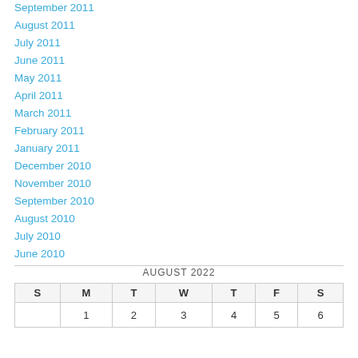September 2011
August 2011
July 2011
June 2011
May 2011
April 2011
March 2011
February 2011
January 2011
December 2010
November 2010
September 2010
August 2010
July 2010
June 2010
| S | M | T | W | T | F | S |
| --- | --- | --- | --- | --- | --- | --- |
|  | 1 | 2 | 3 | 4 | 5 | 6 |